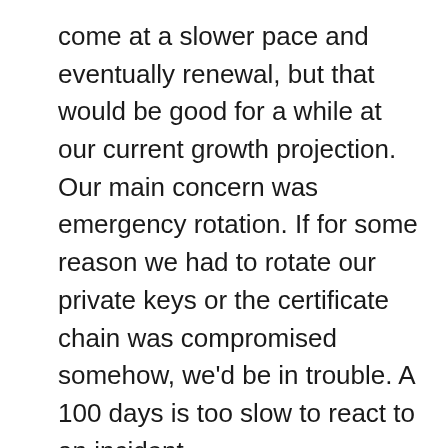come at a slower pace and eventually renewal, but that would be good for a while at our current growth projection. Our main concern was emergency rotation. If for some reason we had to rotate our private keys or the certificate chain was compromised somehow, we'd be in trouble. A 100 days is too slow to react to an incident.
We needed to be more responsive for our merchants, and that's why we decided to add Let's Encrypt as a backup option. We were able to roll Let's Encrypt out in a few hours compared to months with our original providers. The errors we ran into were